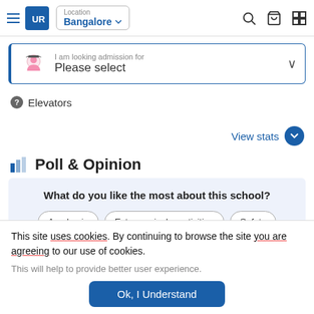UR | Location: Bangalore
I am looking admission for
Please select
Elevators
View stats
Poll & Opinion
What do you like the most about this school?
Academic
Extra curricular activities
Safety
This site uses cookies. By continuing to browse the site you are agreeing to our use of cookies.
This will help to provide better user experience.
Ok, I Understand